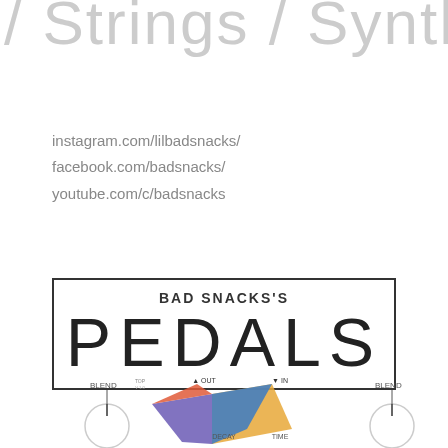/ Strings / Synths
instagram.com/lilbadsnacks/
facebook.com/badsnacks/
youtube.com/c/badsnacks
BAD SNACKS'S
PEDALS
[Figure (photo): Partial image of guitar effects pedals with knobs labeled BLEND, OUT, IN, DECAY, TIME at bottom of page]